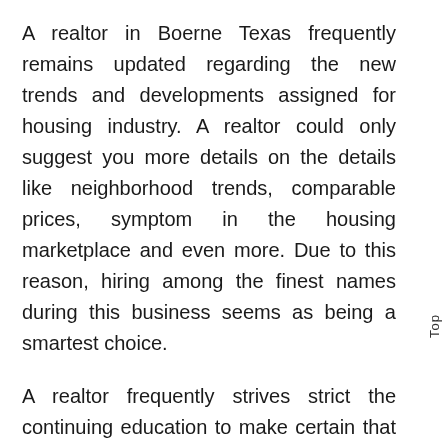A realtor in Boerne Texas frequently remains updated regarding the new trends and developments assigned for housing industry. A realtor could only suggest you more details on the details like neighborhood trends, comparable prices, symptom in the housing marketplace and even more. Due to this reason, hiring among the finest names during this business seems as being a smartest choice.
A realtor frequently strives strict the continuing education to make certain that competence level may be enhanced. This allows him to produce the effective exchanging during this